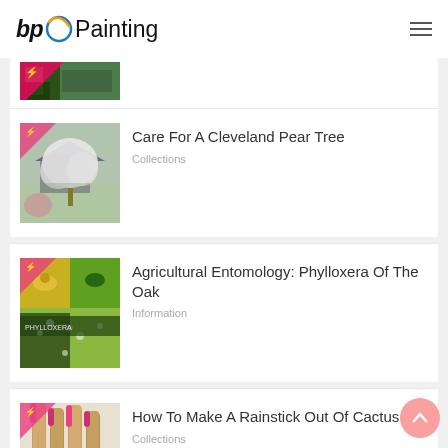bp Painting [logo with navigation]
[Figure (photo): Partial thumbnail of an outdoor/nature scene cropped at top]
Care For A Cleveland Pear Tree — Collections
[Figure (photo): White flowering pear tree in front of a house]
Agricultural Entomology: Phylloxera Of The Oak — Information
[Figure (photo): Collage of insect/plant images related to phylloxera]
How To Make A Rainstick Out Of Cactus — Collections
[Figure (photo): Several rainsticks made from cactus wood with pink/red tips]